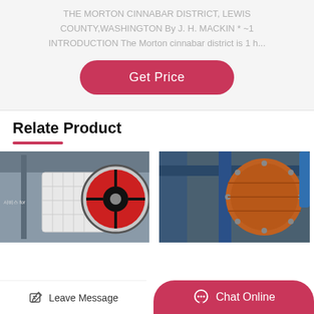THE MORTON CINNABAR DISTRICT, LEWIS COUNTY,WASHINGTON By J. H. MACKIN * ~1 INTRODUCTION The Morton cinnabar district is 1 h...
[Figure (other): Get Price button - rounded pink/red button]
Relate Product
[Figure (photo): Industrial jaw crusher machine in factory setting]
[Figure (photo): Industrial ball mill machinery with orange cylindrical drum]
Leave Message
Chat Online